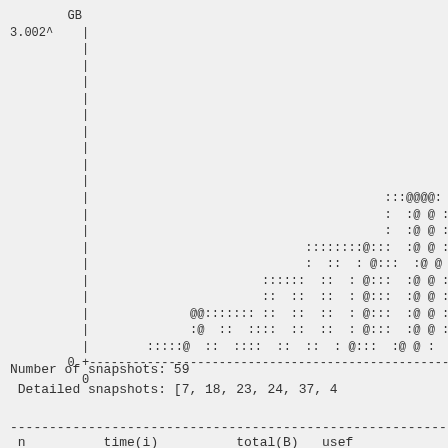[Figure (continuous-plot): ASCII-art memory usage chart showing GB on y-axis with max value 3.002^, time on x-axis starting at 0. The chart uses characters like |, :, @, . to plot memory allocation over snapshots. A stepped pattern of '@' and ':' characters shows memory growing in steps toward the right side of the chart.]
Number of snapshots: 59
 Detailed snapshots: [7, 18, 23, 24, 37, 4
| n | time(i) | total(B) | usef |
| --- | --- | --- | --- |